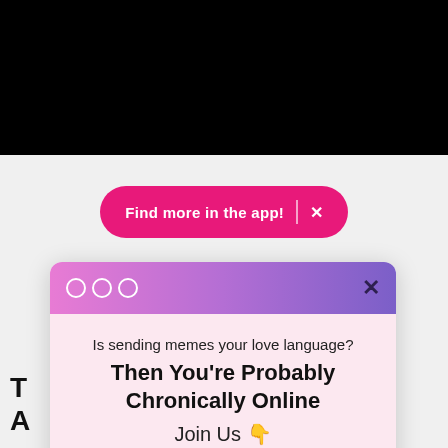[Figure (screenshot): Black bar at top of page representing a dark website header]
[Figure (screenshot): Pink pill-shaped banner reading 'Find more in the app!' with an X close button]
[Figure (screenshot): Modal popup with gradient header, email signup form reading 'Is sending memes your love language? Then You're Probably Chronically Online. Join Us. Email address input and Sign Me Up button and No Thanks link]